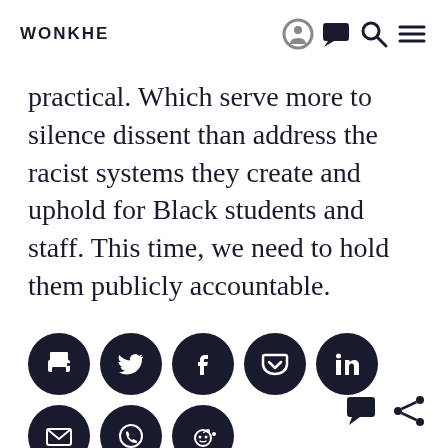WONKHE
practical. Which serve more to silence dissent than address the racist systems they create and uphold for Black students and staff. This time, we need to hold them publicly accountable.
[Figure (other): Row of social sharing icon buttons (print, Twitter, Facebook, Pocket, LinkedIn, email, WhatsApp, Reddit) as dark circular icons]